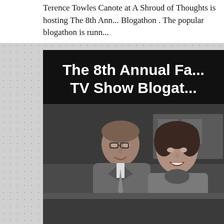Terence Towles Canote at A Shroud of Thoughts is hosting The 8th Ann... Blogathon . The popular blogathon is runn...
[Figure (photo): Promotional image for The 8th Annual Favorite TV Show Blogathon. Black background with bold white text reading 'The 8th Annual Fa... TV Show Blogat...' above a black-and-white photograph of a man and woman smiling together in what appears to be a 1950s TV scene.]